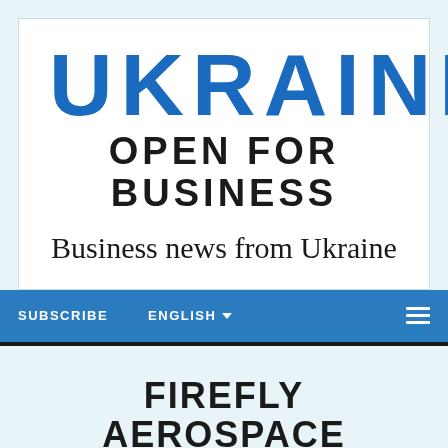[Figure (logo): Ukraine Open for Business logo — large blue bold 'UKRAINE' text above bold black 'OPEN FOR BUSINESS', with tagline 'Business news from Ukraine' below, on white background with light blue border]
SUBSCRIBE   ENGLISH ▾   ≡
FIREFLY AEROSPACE